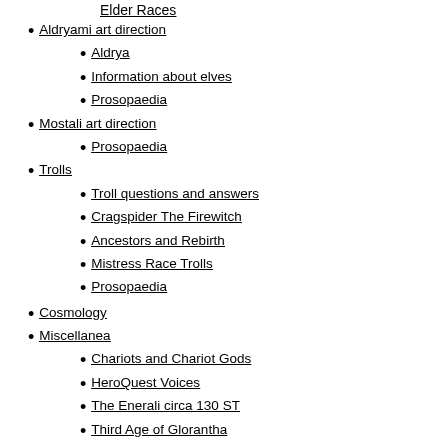Elder Races
Aldryami art direction
Aldrya
Information about elves
Prosopaedia
Mostali art direction
Prosopaedia
Trolls
Troll questions and answers
Cragspider The Firewitch
Ancestors and Rebirth
Mistress Race Trolls
Prosopaedia
Cosmology
Miscellanea
Chariots and Chariot Gods
HeroQuest Voices
The Enerali circa 130 ST
Third Age of Glorantha
Glorantha Q&A Archive
Myth of the Month
A sense of scale